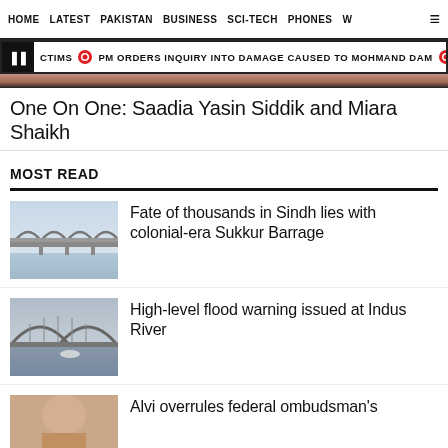HOME   LATEST   PAKISTAN   BUSINESS   SCI-TECH   PHONES   W
CTIMS  PM ORDERS INQUIRY INTO DAMAGE CAUSED TO MOHMAND DAM  N
[Figure (photo): Partial image of a person, cropped banner]
One On One: Saadia Yasin Siddik and Miara Shaikh
MOST READ
[Figure (photo): Photo of a bridge over water with arched spans – Sukkur Barrage]
Fate of thousands in Sindh lies with colonial-era Sukkur Barrage
[Figure (photo): Photo of a bridge over water – Indus River]
High-level flood warning issued at Indus River
[Figure (photo): Partial photo of a person]
Alvi overrules federal ombudsman's